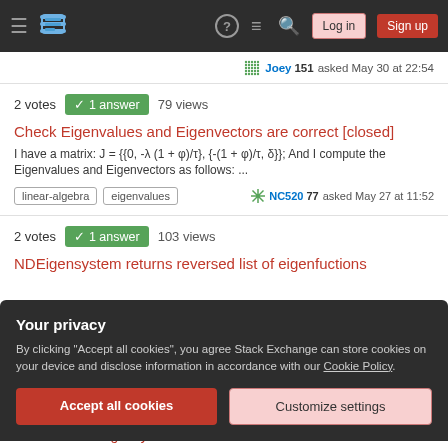Stack Exchange navigation bar with hamburger menu, logo, help, chat, search icons, Log in and Sign up buttons
Joey 151 asked May 30 at 22:54
2 votes  ✓ 1 answer  79 views
Check Eigenvalues and Eigenvectors are correct [closed]
I have a matrix: J = {{0, -λ (1 + φ)/τ}, {-(1 + φ)/τ, δ}}; And I compute the Eigenvalues and Eigenvectors as follows: ...
linear-algebra
eigenvalues
NC520 77 asked May 27 at 11:52
2 votes  ✓ 1 answer  103 views
NDEigensystem returns reversed list of eigenfuctions
Your privacy
By clicking "Accept all cookies", you agree Stack Exchange can store cookies on your device and disclose information in accordance with our Cookie Policy.
Accept all cookies
Customize settings
How to use DEigensystem with Dirichlet Condition an